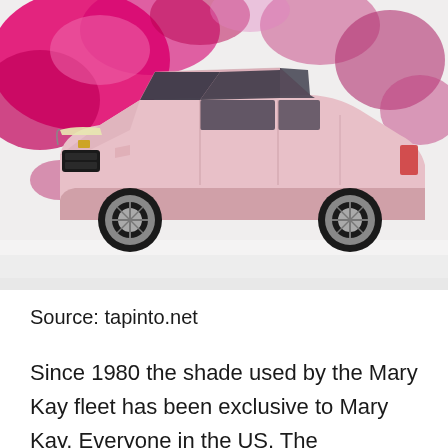[Figure (photo): A pink Cadillac SUV (Mary Kay edition) photographed against a background of pink and magenta color powder splashes on a white surface.]
Source: tapinto.net
Since 1980 the shade used by the Mary Kay fleet has been exclusive to Mary Kay. Everyone in the US. The information and